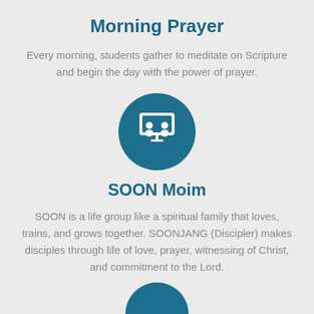Morning Prayer
Every morning, students gather to meditate on Scripture and begin the day with the power of prayer.
[Figure (illustration): A teal circle icon containing a white symbol of two people reading/studying together under a board or screen]
SOON Moim
SOON is a life group like a spiritual family that loves, trains, and grows together. SOONJANG (Discipler) makes disciples through life of love, prayer, witnessing of Christ, and commitment to the Lord.
[Figure (illustration): Partial teal circle visible at bottom of page, cropped]